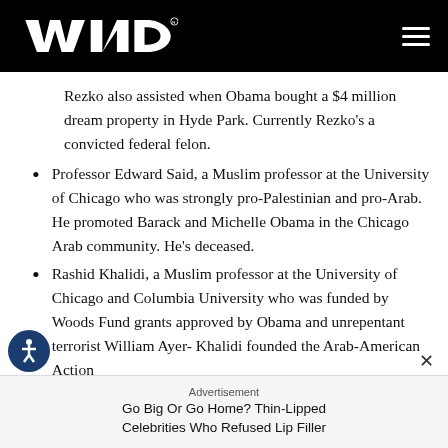WND
Rezko also assisted when Obama bought a $4 million dream property in Hyde Park. Currently Rezko's a convicted federal felon.
Professor Edward Said, a Muslim professor at the University of Chicago who was strongly pro-Palestinian and pro-Arab. He promoted Barack and Michelle Obama in the Chicago Arab community. He's deceased.
Rashid Khalidi, a Muslim professor at the University of Chicago and Columbia University who was funded by Woods Fund grants approved by Obama and unrepentant terrorist William Ayer- Khalidi founded the Arab-American Action
Advertisement
Go Big Or Go Home? Thin-Lipped Celebrities Who Refused Lip Filler